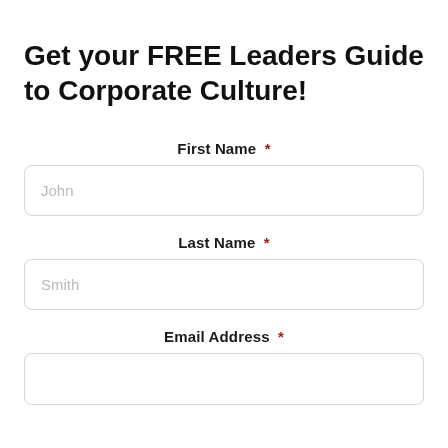Get your FREE Leaders Guide to Corporate Culture!
First Name *
John
Last Name *
Smith
Email Address *